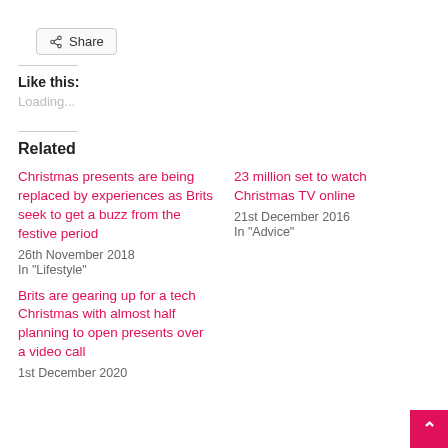Share
Like this:
Loading...
Related
Christmas presents are being replaced by experiences as Brits seek to get a buzz from the festive period
26th November 2018
In "Lifestyle"
23 million set to watch Christmas TV online
21st December 2016
In "Advice"
Brits are gearing up for a tech Christmas with almost half planning to open presents over a video call
1st December 2020